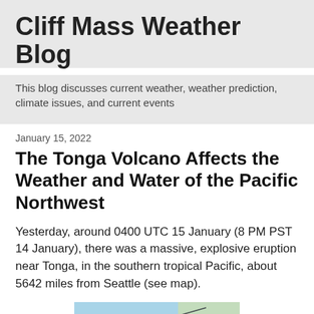Cliff Mass Weather Blog
This blog discusses current weather, weather prediction, climate issues, and current events
January 15, 2022
The Tonga Volcano Affects the Weather and Water of the Pacific Northwest
Yesterday, around 0400 UTC 15 January (8 PM PST 14 January), there was a massive, explosive eruption near Tonga, in the southern tropical Pacific, about 5642 miles from Seattle (see map).
[Figure (map): Map showing Pacific Ocean region with a diagonal line indicating the distance from Tonga to Seattle/Pacific Northwest area, showing the United States coastline at upper right.]